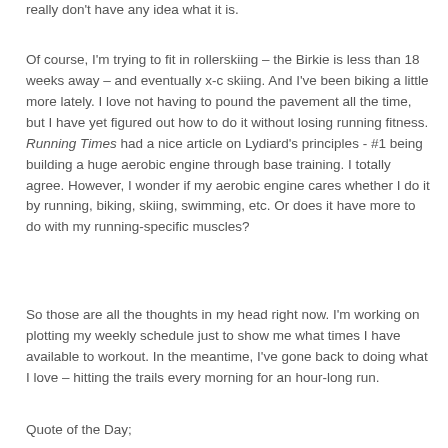really don't have any idea what it is.
Of course, I'm trying to fit in rollerskiing – the Birkie is less than 18 weeks away – and eventually x-c skiing. And I've been biking a little more lately. I love not having to pound the pavement all the time, but I have yet figured out how to do it without losing running fitness. Running Times had a nice article on Lydiard's principles - #1 being building a huge aerobic engine through base training. I totally agree. However, I wonder if my aerobic engine cares whether I do it by running, biking, skiing, swimming, etc. Or does it have more to do with my running-specific muscles?
So those are all the thoughts in my head right now. I'm working on plotting my weekly schedule just to show me what times I have available to workout. In the meantime, I've gone back to doing what I love – hitting the trails every morning for an hour-long run.
Quote of the Day;